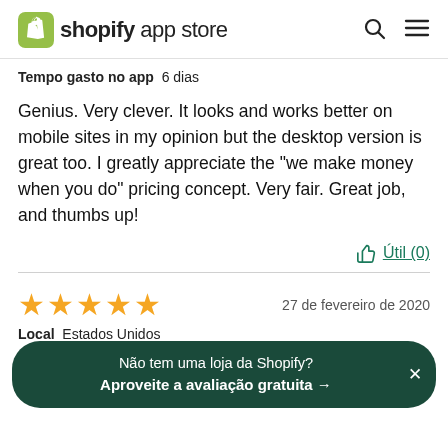shopify app store
Tempo gasto no app  6 dias
Genius. Very clever. It looks and works better on mobile sites in my opinion but the desktop version is great too. I greatly appreciate the "we make money when you do" pricing concept. Very fair. Great job, and thumbs up!
Útil (0)
[Figure (other): Five gold star rating icons]
27 de fevereiro de 2020
Não tem uma loja da Shopify? Aproveite a avaliação gratuita →
Local  Estados Unidos